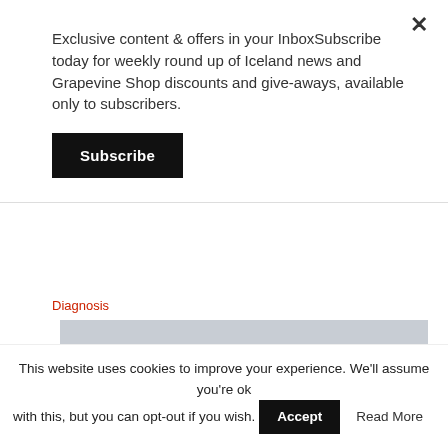Exclusive content & offers in your InboxSubscribe today for weekly round up of Iceland news and Grapevine Shop discounts and give-aways, available only to subscribers.
Subscribe
Diagnosis
[Figure (photo): Close-up photo of multiple medical test tubes/swab collection kits with blue and orange caps, red-striped labels, lying scattered on a surface — COVID-19 or similar diagnostic test supplies.]
This website uses cookies to improve your experience. We'll assume you're ok with this, but you can opt-out if you wish. Accept Read More